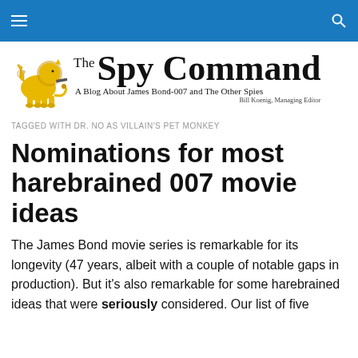The Spy Command — navigation bar
[Figure (logo): The Spy Command logo: a yellow winged lion holding a pistol, with text 'The Spy Command — A Blog About James Bond-007 and The Other Spies' and 'Bill Koenig, Managing Editor']
TAGGED WITH DR. NO AS VILLAIN'S PET MONKEY
Nominations for most harebrained 007 movie ideas
The James Bond movie series is remarkable for its longevity (47 years, albeit with a couple of notable gaps in production). But it's also remarkable for some harebrained ideas that were seriously considered. Our list of five nominations...